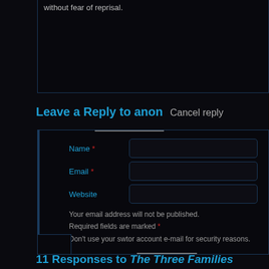without fear of reprisal.
Leave a Reply to anon   Cancel reply
Name *
Email *
Website
Your email address will not be published.
Required fields are marked *
Don't use your swtor account e-mail for security reasons.
11 Responses to The Three Families